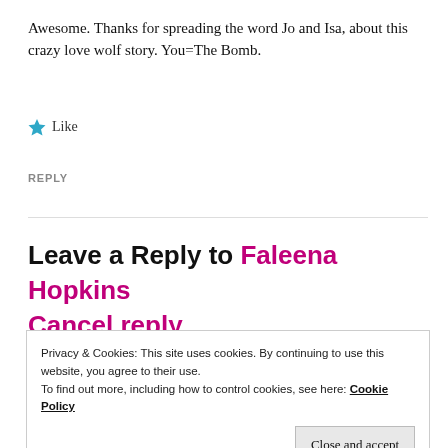Awesome. Thanks for spreading the word Jo and Isa, about this crazy love wolf story. You=The Bomb.
★ Like
REPLY
Leave a Reply to Faleena Hopkins Cancel reply
Privacy & Cookies: This site uses cookies. By continuing to use this website, you agree to their use. To find out more, including how to control cookies, see here: Cookie Policy
Close and accept